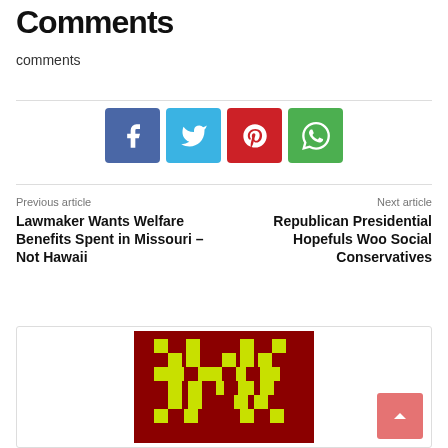Comments
comments
[Figure (infographic): Social share buttons: Facebook (blue), Twitter (cyan), Pinterest (red), WhatsApp (green)]
Previous article
Lawmaker Wants Welfare Benefits Spent in Missouri – Not Hawaii
Next article
Republican Presidential Hopefuls Woo Social Conservatives
[Figure (illustration): Pixel art space invader style character on dark red background with yellow-green pixels]